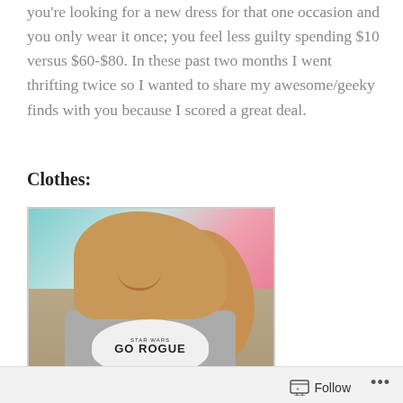you're looking for a new dress for that one occasion and you only wear it once; you feel less guilty spending $10 versus $60-$80. In these past two months I went thrifting twice so I wanted to share my awesome/geeky finds with you because I scored a great deal.
Clothes:
[Figure (photo): A young woman with long blonde/brown hair, smiling at the camera, wearing a gray Star Wars 'GO ROGUE' t-shirt. Background shows a colorful room with teal and pink accents.]
Follow ...